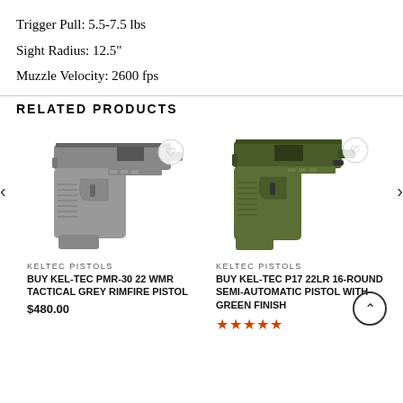Trigger Pull: 5.5-7.5 lbs
Sight Radius: 12.5"
Muzzle Velocity: 2600 fps
RELATED PRODUCTS
[Figure (photo): Grey KEL-TEC PMR-30 22 WMR Tactical Grey Rimfire Pistol product image]
KELTEC PISTOLS
Buy KEL-TEC PMR-30 22 WMR TACTICAL GREY RIMFIRE PISTOL
$480.00
[Figure (photo): Green KEL-TEC P17 22LR 16-Round Semi-Automatic Pistol with Green Finish product image]
KELTEC PISTOLS
BUY KEL-TEC P17 22LR 16-ROUND SEMI-AUTOMATIC PISTOL WITH GREEN FINISH
★★★★★